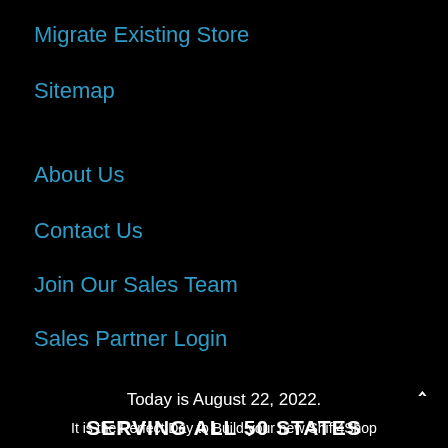Migrate Existing Store
Sitemap
About Us
Contact Us
Join Our Sales Team
Sales Partner Login
Today is August 22, 2022.
It is the Perfect Day to Build your new Shift4Shop
SERVING ALL 50 STATES